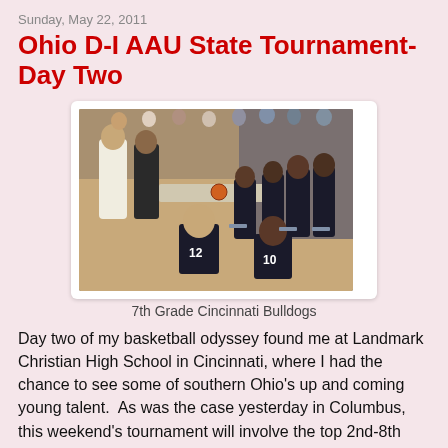Sunday, May 22, 2011
Ohio D-I AAU State Tournament-Day Two
[Figure (photo): Basketball team huddle scene — youth players in black and white uniforms seated on chairs listening to coaches at a tournament, indoors at a gymnasium. Players include those wearing jerseys numbered 12 and 10.]
7th Grade Cincinnati Bulldogs
Day two of my basketball odyssey found me at Landmark Christian High School in Cincinnati, where I had the chance to see some of southern Ohio's up and coming young talent.  As was the case yesterday in Columbus, this weekend's tournament will involve the top 2nd-8th grade travel teams in the southern part of the state.
Right out of the box I watched Dayton's 2016 Salvation Army